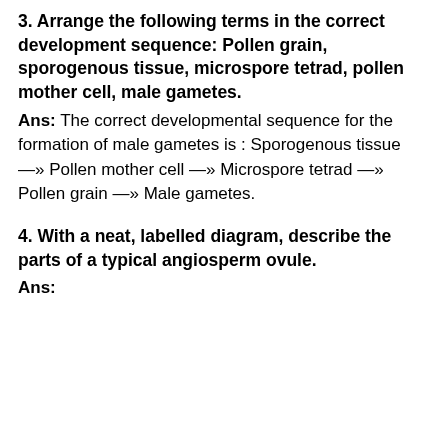3. Arrange the following terms in the correct development sequence: Pollen grain, sporogenous tissue, microspore tetrad, pollen mother cell, male gametes.
Ans: The correct developmental sequence for the formation of male gametes is : Sporogenous tissue —» Pollen mother cell —» Microspore tetrad —» Pollen grain —» Male gametes.
4. With a neat, labelled diagram, describe the parts of a typical angiosperm ovule.
Ans: